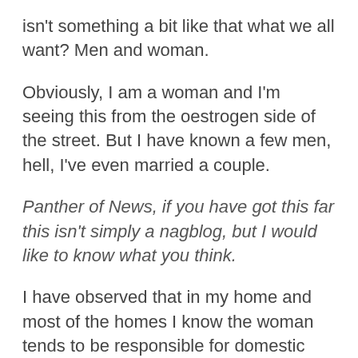isn't something a bit like that what we all want? Men and woman.
Obviously, I am a woman and I'm seeing this from the oestrogen side of the street. But I have known a few men, hell, I've even married a couple.
Panther of News, if you have got this far this isn't simply a nagblog, but I would like to know what you think.
I have observed that in my home and most of the homes I know the woman tends to be responsible for domestic